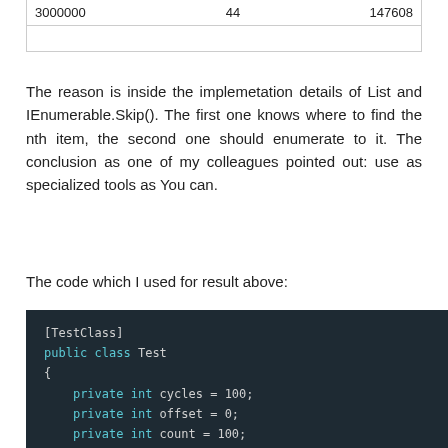| 3000000 | 44 | 147608 |
|  |  |  |
The reason is inside the implemetation details of List and IEnumerable.Skip(). The first one knows where to find the nth item, the second one should enumerate to it. The conclusion as one of my colleagues pointed out: use as specialized tools as You can.
The code which I used for result above:
[Figure (screenshot): Code block showing C# test class with [TestClass] attribute, public class Test, private int fields cycles=100, offset=0, count=100, [TestMethod] attribute, public void perftest1() method, and var l = GetTestData();]